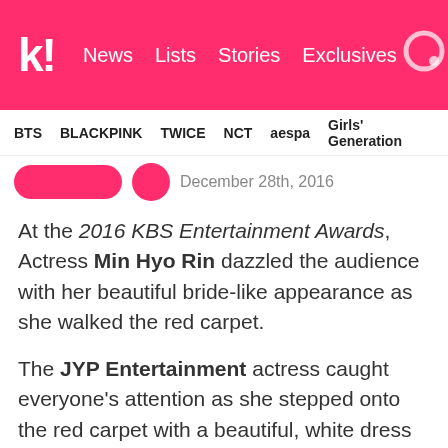k! News Lists Stories Exclusives
BTS BLACKPINK TWICE NCT aespa Girls' Generation
December 28th, 2016
At the 2016 KBS Entertainment Awards, Actress Min Hyo Rin dazzled the audience with her beautiful bride-like appearance as she walked the red carpet.
The JYP Entertainment actress caught everyone's attention as she stepped onto the red carpet with a beautiful, white dress and long, sparkling diamond earrings.
With her hair tied into an elegant bun and strands of her hair trailing down her cheek, she